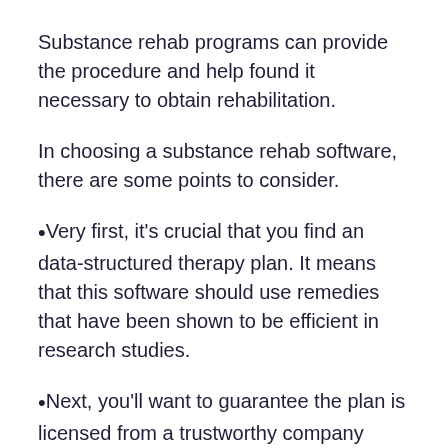Substance rehab programs can provide the procedure and help found it necessary to obtain rehabilitation.
In choosing a substance rehab software, there are some points to consider.
Very first, it's crucial that you find an data-structured therapy plan. It means that this software should use remedies that have been shown to be efficient in research studies.
Next, you'll want to guarantee the plan is licensed from a trustworthy company such as the Joints Commission payment or CARF. These accreditations show that the program meets substantial requirements